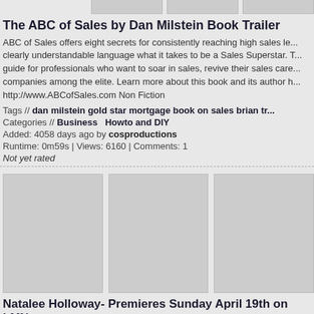[Figure (other): Three grey thumbnail images in a row (top of page, partially visible)]
The ABC of Sales by Dan Milstein Book Trailer
ABC of Sales offers eight secrets for consistently reaching high sales le... clearly understandable language what it takes to be a Sales Superstar. T... guide for professionals who want to soar in sales, revive their sales care... companies among the elite. Learn more about this book and its author h... http://www.ABCofSales.com Non Fiction
Tags // dan milstein gold star mortgage book on sales brian tr...
Categories // Business  Howto and DIY
Added: 4058 days ago by cosproductions
Runtime: 0m59s | Views: 6160 | Comments: 1
Not yet rated
[Figure (other): Three large grey thumbnail images in a row]
Natalee Holloway- Premieres Sunday April 19th on LMN
Natalee Holloway is the harrowing true story of a teenage girl who vanis... Aruba. The movie, about a mother's search for truth and justice, is base... Natalee: A Mother's Testament of Hope and Faith, by Beth Twitty, the mo... Holloway. Premieres Sunday, April 19 at 8 pm ET|PT on Lifetime Movie...
Tags // lifetime movie network lmn premire natalee holloway aru... tracy pollan grant show beth twitty book adapta
Categories // People and Blog
Added: 4900 days ago by lifetimepd